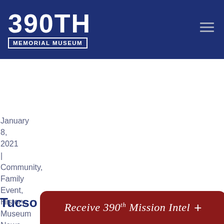390TH MEMORIAL MUSEUM
January 8, 2021 | Community, Family Event, History, Museum News
Tucso
[Figure (infographic): Dark red CTA banner with text 'Receive 390th Mission Intel +' in script font at bottom of page]